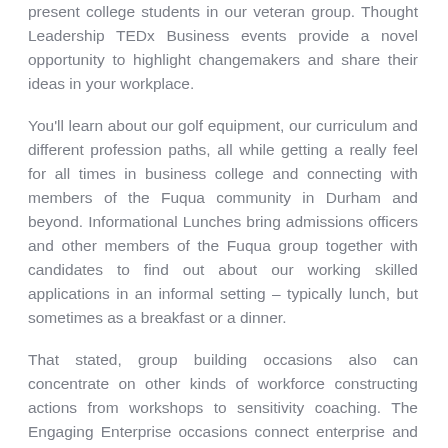present college students in our veteran group. Thought Leadership TEDx Business events provide a novel opportunity to highlight changemakers and share their ideas in your workplace.
You'll learn about our golf equipment, our curriculum and different profession paths, all while getting a really feel for all times in business college and connecting with members of the Fuqua community in Durham and beyond. Informational Lunches bring admissions officers and other members of the Fuqua group together with candidates to find out about our working skilled applications in an informal setting – typically lunch, but sometimes as a breakfast or a dinner.
That stated, group building occasions also can concentrate on other kinds of workforce constructing actions from workshops to sensitivity coaching. The Engaging Enterprise occasions connect enterprise and academia to explore the vital matters of the hour. Multi-